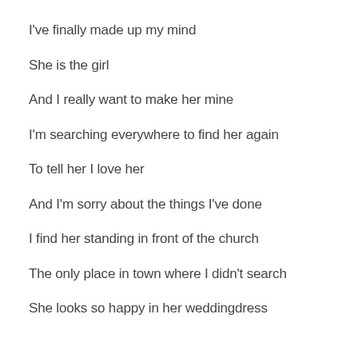I've finally made up my mind
She is the girl
And I really want to make her mine
I'm searching everywhere to find her again
To tell her I love her
And I'm sorry about the things I've done
I find her standing in front of the church
The only place in town where I didn't search
She looks so happy in her weddingdress